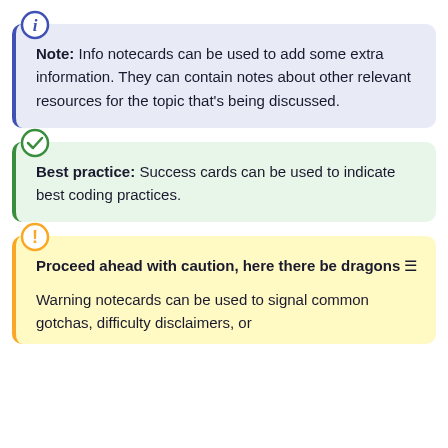Note: Info notecards can be used to add some extra information. They can contain notes about other relevant resources for the topic that's being discussed.
Best practice: Success cards can be used to indicate best coding practices.
Proceed ahead with caution, here there be dragons 🟰 Warning notecards can be used to signal common gotchas, difficulty disclaimers, or